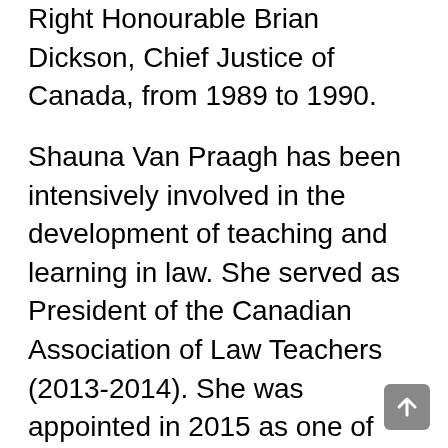Right Honourable Brian Dickson, Chief Justice of Canada, from 1989 to 1990.
Shauna Van Praagh has been intensively involved in the development of teaching and learning in law. She served as President of the Canadian Association of Law Teachers (2013-2014). She was appointed in 2015 as one of two academic members of the National Requirement Review Committee under the auspices of the Federation of Law Societies of Canada.
Professor Van Praagh was awarded the